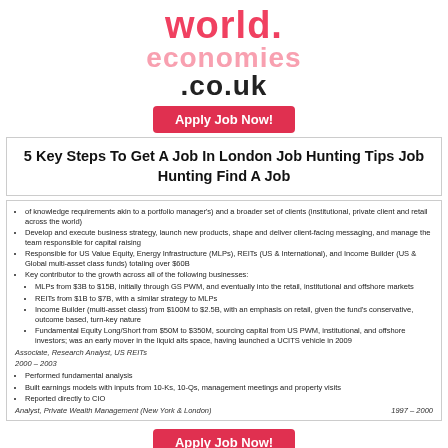[Figure (logo): world economies .co.uk logo in red and grey]
Apply Job Now!
5 Key Steps To Get A Job In London Job Hunting Tips Job Hunting Find A Job
of knowledge requirements akin to a portfolio manager's) and a broader set of clients (institutional, private client and retail across the world)
Develop and execute business strategy, launch new products, shape and deliver client-facing messaging, and manage the team responsible for capital raising
Responsible for US Value Equity, Energy Infrastructure (MLPs), REITs (US & International), and Income Builder (US & Global multi-asset class funds) totaling over $60B
Key contributor to the growth across all of the following businesses: MLPs from $3B to $15B, initially through GS PWM, and eventually into the retail, institutional and offshore markets; REITs from $1B to $7B, with a similar strategy to MLPs; Income Builder (multi-asset class) from $100M to $2.5B, with an emphasis on retail, given the fund's conservative, outcome based, turn-key nature; Fundamental Equity Long/Short from $50M to $350M, sourcing capital from US PWM, institutional, and offshore investors; was an early mover in the liquid alts space, having launched a UCITS vehicle in 2009
Associate, Research Analyst, US REITs
2000 – 2003
Performed fundamental analysis
Built earnings models with inputs from 10-Ks, 10-Qs, management meetings and property visits
Reported directly to CIO
Analyst, Private Wealth Management (New York & London)     1997 – 2000
Apply Job Now!
Goldman Sachs Investment Banking Resume Beautiful Collin Bell Cv In 2020 Investing Investment Banking Job Resume